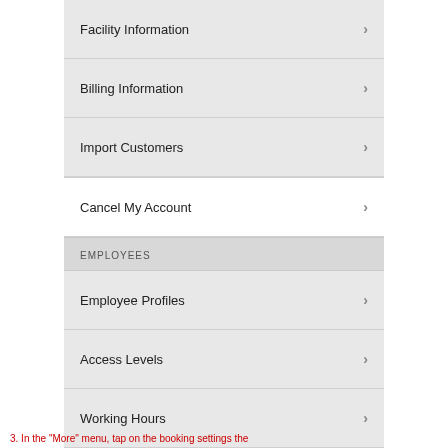[Figure (screenshot): Mobile app settings screen showing menu items: Facility Information, Billing Information, Import Customers, Cancel My Account (highlighted white), EMPLOYEES section header, Employee Profiles, Access Levels, Working Hours, Website Employee Lineup, BOOKING section header. Bottom has a red tab bar with Calendar, Notifications, Customers, Checkout, More (active). Below is a black Android navigation bar with back, home, and recent buttons.]
3. In the "More" menu, tap on the booking settings the